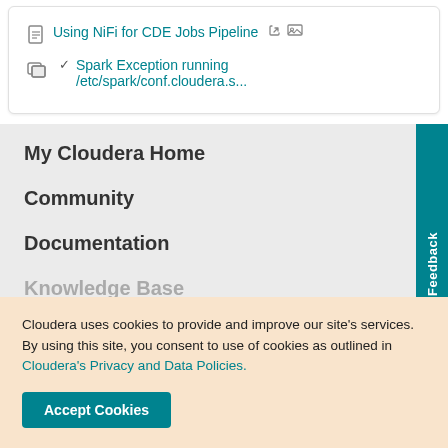Using NiFi for CDE Jobs Pipeline
Spark Exception running /etc/spark/conf.cloudera.s...
My Cloudera Home
Community
Documentation
Knowledge Base
Cloudera uses cookies to provide and improve our site's services. By using this site, you consent to use of cookies as outlined in Cloudera's Privacy and Data Policies.
Accept Cookies